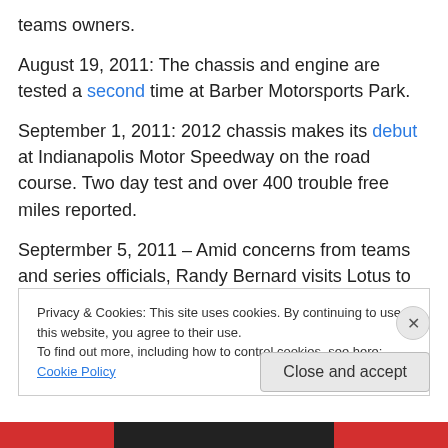teams owners.
August 19, 2011: The chassis and engine are tested a second time at Barber Motorsports Park.
September 1, 2011: 2012 chassis makes its debut at Indianapolis Motor Speedway on the road course. Two day test and over 400 trouble free miles reported.
Septermber 5, 2011 – Amid concerns from teams and series officials, Randy Bernard visits Lotus to confirm their participation as an engine manufacturer in the 2012
Privacy & Cookies: This site uses cookies. By continuing to use this website, you agree to their use.
To find out more, including how to control cookies, see here: Cookie Policy
Close and accept